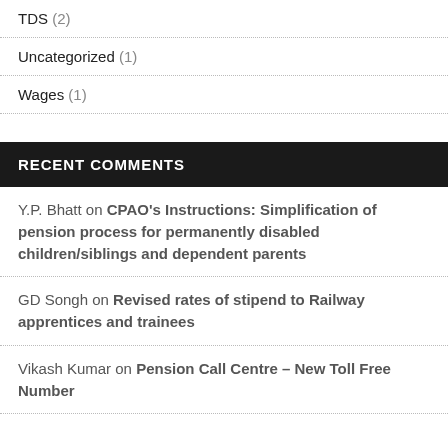TDS (2)
Uncategorized (1)
Wages (1)
RECENT COMMENTS
Y.P. Bhatt on CPAO's Instructions: Simplification of pension process for permanently disabled children/siblings and dependent parents
GD Songh on Revised rates of stipend to Railway apprentices and trainees
Vikash Kumar on Pension Call Centre – New Toll Free Number